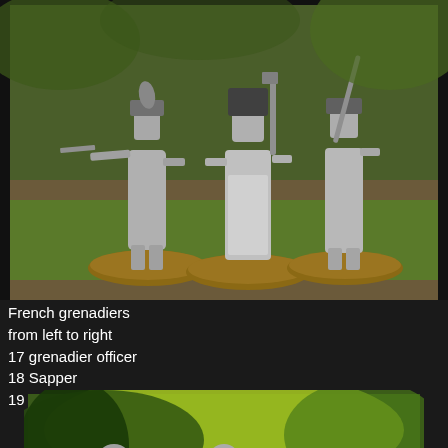[Figure (photo): Three unpainted metal miniature figures of French grenadiers standing on round wooden bases, photographed against a green grassy background. Left figure holds a rifle pointing outward, center figure (Sapper) carries an axe, right figure advances with a musket.]
French grenadiers from left to right 17 grenadier officer 18 Sapper 19 advancing with musket
[Figure (photo): Partial view of more unpainted metal miniature figures photographed against green foliage background, showing figures from approximately waist up or as busts.]